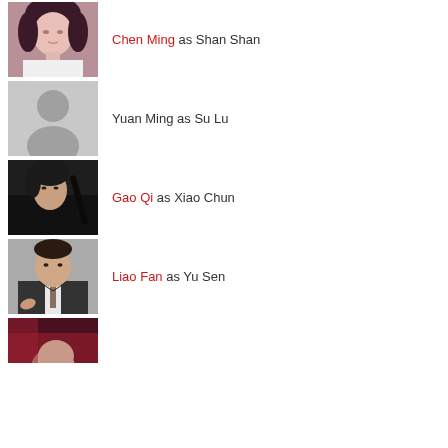Chen Ming as Shan Shan
Yuan Ming as Su Lu
Gao Qi as Xiao Chun
Liao Fan as Yu Sen
[Figure (photo): Partial photo of a person at bottom of page]